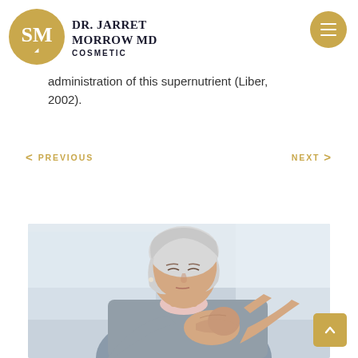Dr. Jarret Morrow MD Cosmetic
administration of this supernutrient (Liber, 2002).
< PREVIOUS    NEXT >
[Figure (photo): Elderly woman with short white/grey hair holding her wrist in apparent pain, wearing a grey cardigan and light pink shirt, with a blurred light background.]